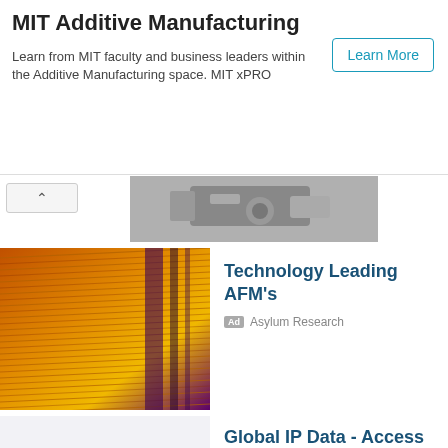MIT Additive Manufacturing
Learn from MIT faculty and business leaders within the Additive Manufacturing space. MIT xPRO
Learn More
[Figure (photo): Partial view of a mechanical device (gray metal, top-cropped)]
[Figure (photo): Close-up of an orange and purple textured material surface, likely AFM scan image]
Technology Leading AFM's
Ad  Asylum Research
[Figure (illustration): 3D illustration of white figurines sitting around a conference table]
Global IP Data - Access to 10+ Full Datasets
Ad  ktmine.com
[Figure (photo): Sunset over ocean with pier silhouette]
Fastest Apply Process
Ad  Medical Solutions